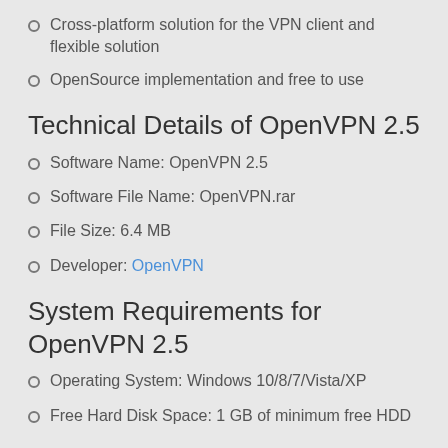Cross-platform solution for the VPN client and flexible solution
OpenSource implementation and free to use
Technical Details of OpenVPN 2.5
Software Name: OpenVPN 2.5
Software File Name: OpenVPN.rar
File Size: 6.4 MB
Developer: OpenVPN
System Requirements for OpenVPN 2.5
Operating System: Windows 10/8/7/Vista/XP
Free Hard Disk Space: 1 GB of minimum free HDD